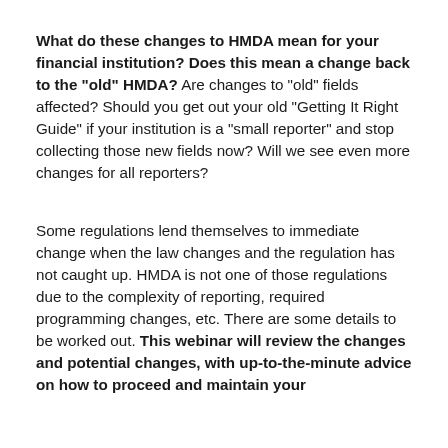What do these changes to HMDA mean for your financial institution? Does this mean a change back to the "old" HMDA? Are changes to "old" fields affected? Should you get out your old "Getting It Right Guide" if your institution is a "small reporter" and stop collecting those new fields now? Will we see even more changes for all reporters?
Some regulations lend themselves to immediate change when the law changes and the regulation has not caught up. HMDA is not one of those regulations due to the complexity of reporting, required programming changes, etc. There are some details to be worked out. This webinar will review the changes and potential changes, with up-to-the-minute advice on how to proceed and maintain your